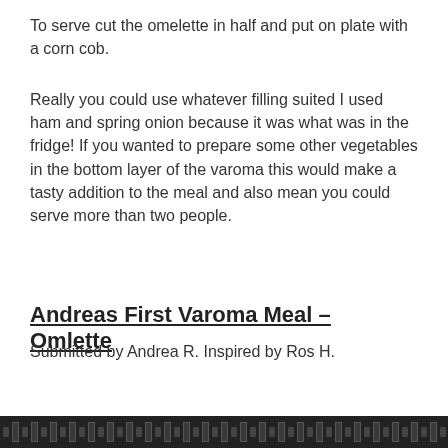To serve cut the omelette in half and put on plate with a corn cob.
Really you could use whatever filling suited I used ham and spring onion because it was what was in the fridge! If you wanted to prepare some other vegetables in the bottom layer of the varoma this would make a tasty addition to the meal and also mean you could serve more than two people.
Andreas First Varoma Meal – Omlette
Submitted by Andrea R. Inspired by Ros H.
[Figure (other): Filmstrip / decorative dark border strip at the bottom of the page]